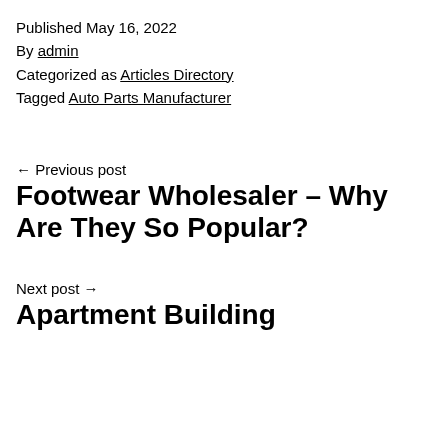Published May 16, 2022
By admin
Categorized as Articles Directory
Tagged Auto Parts Manufacturer
← Previous post
Footwear Wholesaler – Why Are They So Popular?
Next post →
Apartment Building